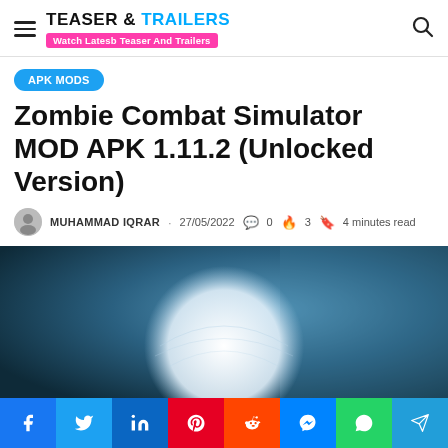TEASER & TRAILERS — Watch Latesb Teaser And Trailers
APK MODS
Zombie Combat Simulator MOD APK 1.11.2 (Unlocked Version)
MUHAMMAD IQRAR · 27/05/2022 💬 0 🔥 3 🔖 4 minutes read
[Figure (photo): Hero image showing a white circle/sphere shape on a blue textured background]
Social share buttons: Facebook, Twitter, LinkedIn, Pinterest, Reddit, Messenger, WhatsApp, Telegram